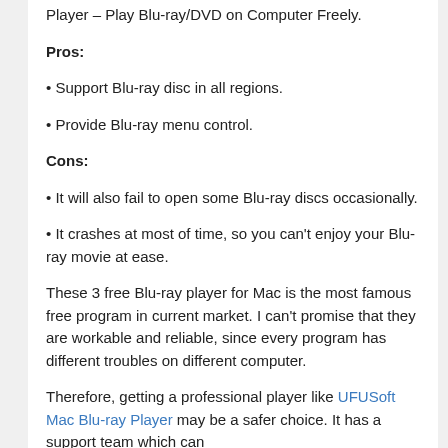Player – Play Blu-ray/DVD on Computer Freely.
Pros:
• Support Blu-ray disc in all regions.
• Provide Blu-ray menu control.
Cons:
• It will also fail to open some Blu-ray discs occasionally.
• It crashes at most of time, so you can't enjoy your Blu-ray movie at ease.
These 3 free Blu-ray player for Mac is the most famous free program in current market. I can't promise that they are workable and reliable, since every program has different troubles on different computer.
Therefore, getting a professional player like UFUSoft Mac Blu-ray Player may be a safer choice. It has a support team which can